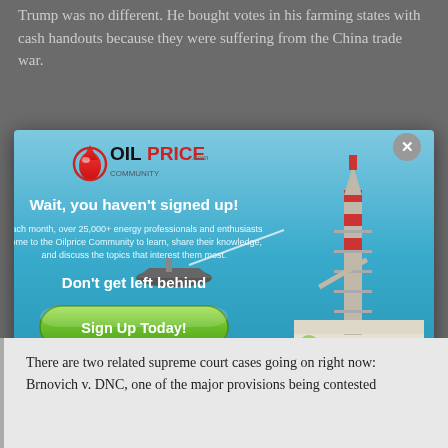Trump was no different. He bought votes in his farming states with cash handouts because they were suffering from the China trade war.
[Figure (screenshot): OilPrice.com newsletter signup modal overlay on an article page. Modal shows logo with red oil drop, headline 'Wait, you haven't signed up!', subtext about 25,000+ energy professionals, 'Don't get left behind' CTA, green 'Sign Up Today!' button, and background image of an offshore oil rig on blue water. A close (X) button appears in top right corner.]
There are two related supreme court cases going on right now: Brnovich v. DNC, one of the major provisions being contested